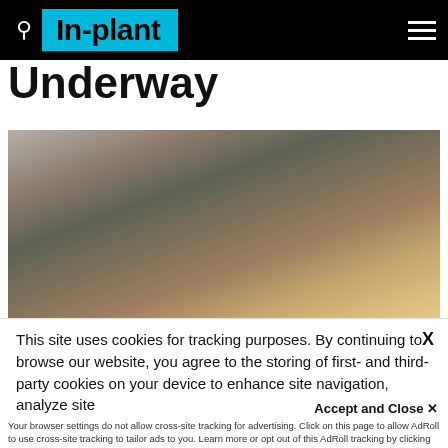In-plant
Underway
[Figure (photo): Group of people seated at tables in a conference or meeting room setting, appearing to attend a presentation or event.]
This site uses cookies for tracking purposes. By continuing to browse our website, you agree to the storing of first- and third-party cookies on your device to enhance site navigation, analyze site usage, and assist in our marketing and
Accept and Close ✕
Your browser settings do not allow cross-site tracking for advertising. Click on this page to allow AdRoll to use cross-site tracking to tailor ads to you. Learn more or opt out of this AdRoll tracking by clicking here. This message only appears once.